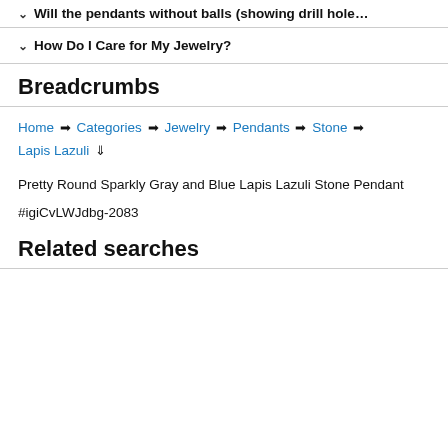Will the pendants without balls (showing drill hole…
How Do I Care for My Jewelry?
Breadcrumbs
Home → Categories → Jewelry → Pendants → Stone → Lapis Lazuli ↓
Pretty Round Sparkly Gray and Blue Lapis Lazuli Stone Pendant
#igiCvLWJdbg-2083
Related searches